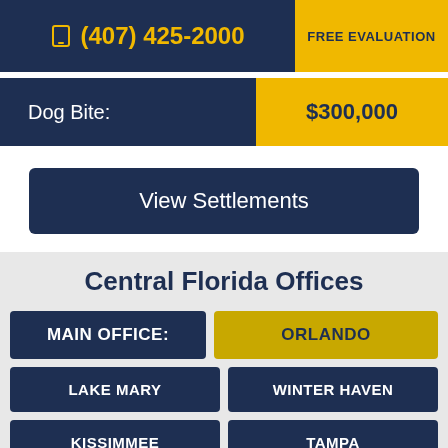(407) 425-2000 | FREE EVALUATION
Dog Bite: $300,000
View Settlements
Central Florida Offices
MAIN OFFICE: ORLANDO
LAKE MARY
WINTER HAVEN
KISSIMMEE
TAMPA
LIVE CHAT > START NOW